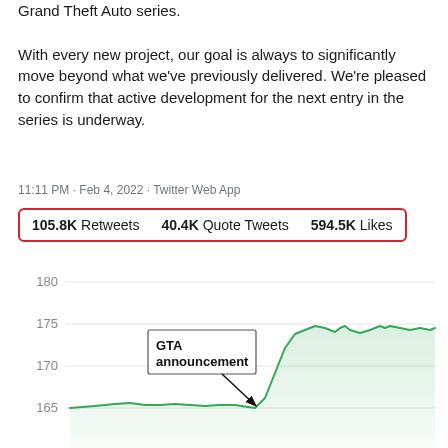Grand Theft Auto series.

With every new project, our goal is always to significantly move beyond what we've previously delivered. We're pleased to confirm that active development for the next entry in the series is underway.
11:11 PM · Feb 4, 2022 · Twitter Web App
105.8K Retweets   40.4K Quote Tweets   594.5K Likes
[Figure (line-chart): Line chart showing a stock price rising from ~163 to ~175 after a 'GTA announcement' annotation. Y-axis shows values 165, 170, 175, 180. The line trends up sharply after the annotation point around 165, reaching ~175-176 range.]